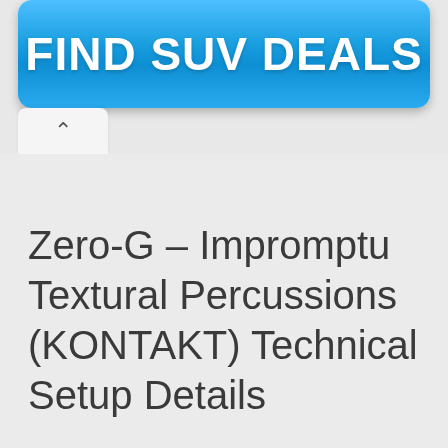[Figure (screenshot): Blue rounded button with white bold text reading FIND SUV DEALS]
[Figure (screenshot): Small tab UI element with an up-arrow caret icon]
Zero-G – Impromptu Textural Percussions (KONTAKT) Technical Setup Details